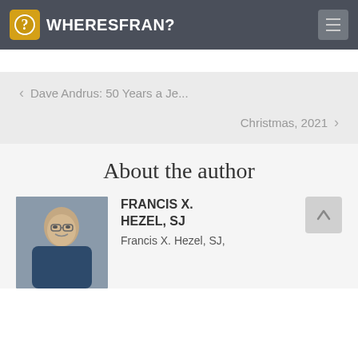WHERESFRAN?
< Dave Andrus: 50 Years a Je...
Christmas, 2021 >
About the author
FRANCIS X. HEZEL, SJ
Francis X. Hezel, SJ,